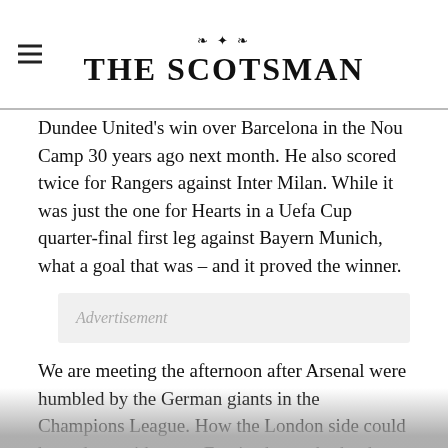THE SCOTSMAN
Dundee United's win over Barcelona in the Nou Camp 30 years ago next month. He also scored twice for Rangers against Inter Milan. While it was just the one for Hearts in a Uefa Cup quarter-final first leg against Bayern Munich, what a goal that was – and it proved the winner.
Advertisement
We are meeting the afternoon after Arsenal were humbled by the German giants in the Champions League. How the London side could have done with some Fergie chutzpah, the then 27-year-old striker latching on to a